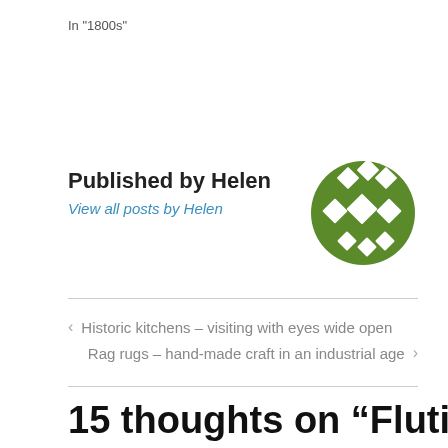In "1800s"
Published by Helen
View all posts by Helen
[Figure (logo): Green circular logo with diamond/checkerboard pattern in white on green background]
‹  Historic kitchens – visiting with eyes wide open
Rag rugs – hand-made craft in an industrial age  ›
15 thoughts on “Fluting